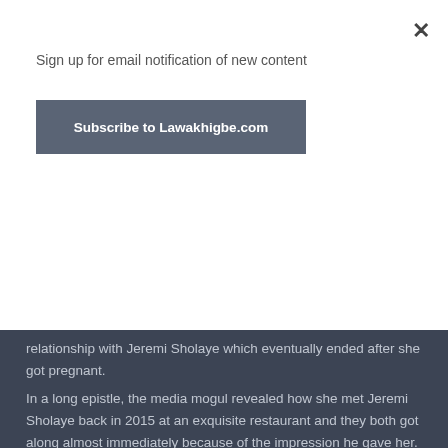Sign up for email notification of new content
Subscribe to Lawakhigbe.com
relationship with Jeremi Sholaye which eventually ended after she got pregnant.
In a long epistle, the media mogul revealed how she met Jeremi Sholaye back in 2015 at an exquisite restaurant and they both got along almost immediately because of the impression he gave her.
She went on to write about how their once ‘made in heaven’ relationship took a nose-dive the moment she told Jeremi that she was pregnant. However, according to Linda, he later came around but it didn’t take time